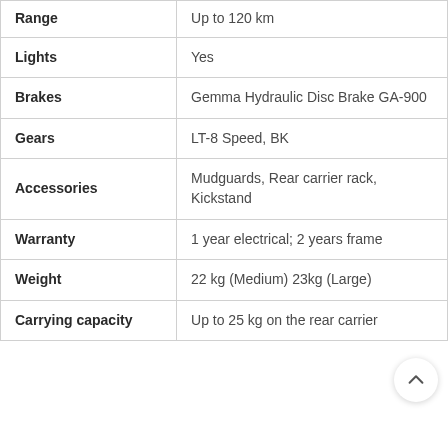| Feature | Value |
| --- | --- |
| Range | Up to 120 km |
| Lights | Yes |
| Brakes | Gemma Hydraulic Disc Brake GA-900 |
| Gears | LT-8 Speed, BK |
| Accessories | Mudguards, Rear carrier rack, Kickstand |
| Warranty | 1 year electrical; 2 years frame |
| Weight | 22 kg (Medium) 23kg (Large) |
| Carrying capacity | Up to 25 kg on the rear carrier |